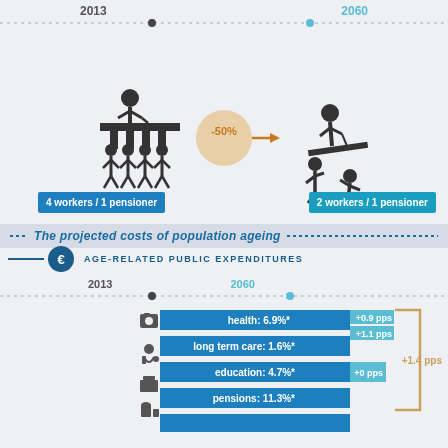2013 ... 2060 (top timeline)
[Figure (infographic): Two icons showing 4 workers / 1 pensioner in 2013 reducing by 50% to 2 workers / 1 pensioner in 2060]
4 workers / 1 pensioner
2 workers / 1 pensioner
The projected costs of population ageing
AGE-RELATED PUBLIC EXPENDITURES
2013 ... 2060 (mid timeline)
[Figure (infographic): Bar chart showing age-related public expenditures: health 6.9%*, long term care 1.6%*, education 4.7%*, pensions 11.3%* with projected changes to 2060: health +0.9 pps, long term care +1.1 pps, education +0 pps, pensions +1.4 pps]